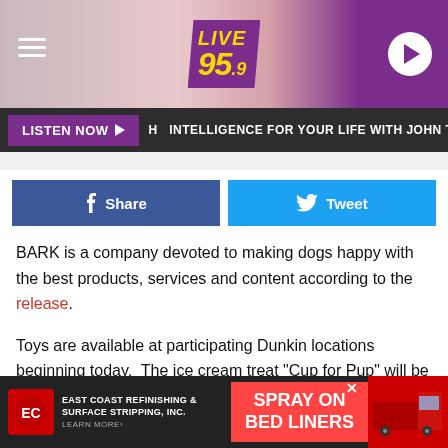[Figure (screenshot): Live 95.9 radio station website header with logo, hamburger menu, and play button on a pink/purple gradient background]
LISTEN NOW | H INTELLIGENCE FOR YOUR LIFE WITH JOHN TES
[Figure (screenshot): Facebook Share button (blue) and Twitter Tweet button (cyan) side by side]
BARK is a company devoted to making dogs happy with the best products, services and content according to the release.
Toys are available at participating Dunkin locations beginning today.  The ice cream treat "Cup for Pup" will be available beginning next Wednesday, August 4th at participating Dunkin' locations.  .
LOOK: HERE ARE 30 FOODS THAT ARE
[Figure (screenshot): Advertisement banner: East Coast Refinishing & Surface Stripping, Inc. — Spray On Bed Liners — Learn More]